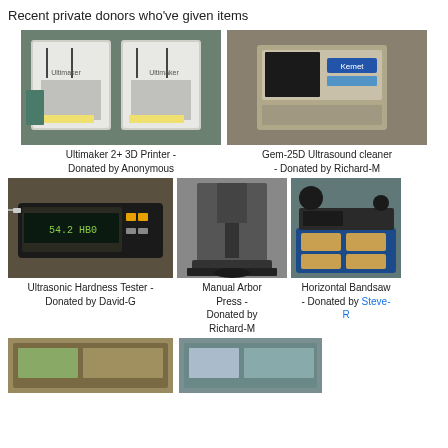Recent private donors who've given items
[Figure (photo): Two Ultimaker 3D printers side by side on a wooden table]
Ultimaker 2+ 3D Printer - Donated by Anonymous
[Figure (photo): Kemet Gem-25D ultrasonic cleaner machine]
Gem-25D Ultrasound cleaner - Donated by Richard-M
[Figure (photo): Ultrasonic Hardness Tester with digital display showing 54.2 HB0]
Ultrasonic Hardness Tester - Donated by David-G
[Figure (photo): Manual arbor press on a workbench]
Manual Arbor Press - Donated by Richard-M
[Figure (photo): Horizontal bandsaw on a blue wheeled cart with wooden drawers]
Horizontal Bandsaw - Donated by Steve-R
[Figure (photo): Partially visible photo bottom left]
[Figure (photo): Partially visible photo bottom right]